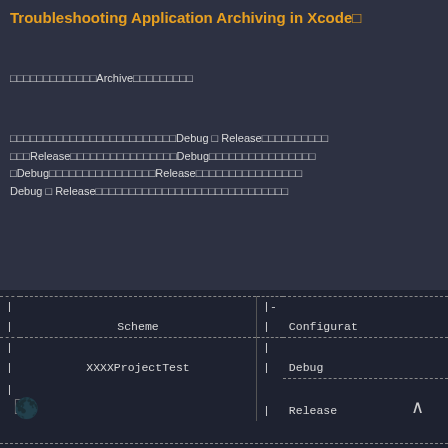Troubleshooting Application Archiving in Xcode□
□□□□□□□□□□□□□Archive□□□□□□□□□
□□□□□□□□□□□□□□□□□□□□□□□□□Debug □ Release□□□□□□□□□□□□Release□□□□□□□□□□□□□□□□Debug□□□□□□□□□□□□□□□□□Debug□□□□□□□□□□□□□□□□Release□□□□□□□□□□□□□□□□Debug □ Release□□□□□□□□□□□□□□□□□□□□□□□□□□□□□
[Figure (screenshot): A dark-themed table showing Scheme and Configuration columns. Rows include XXXXProjectTest with Debug and Release configurations. A Markdown badge is visible in the top right. A toggle icon is at the bottom left and an up arrow at the bottom right.]